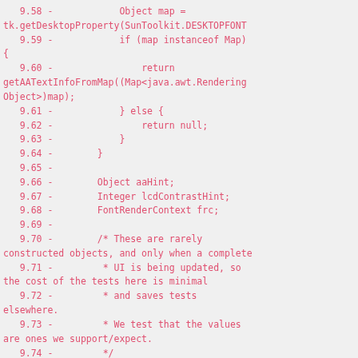[Figure (screenshot): Code diff showing Java source code lines 9.58 through 9.75, displayed in monospace red text on light gray background. Shows a code fragment with line numbers, minus signs indicating removed lines, including object map assignment, instanceof Map check, return statements, variable declarations (Object aaHint, Integer lcdContrastHint, FontRenderContext frc), a multi-line comment about rarely constructed objects, and a public AATextInfo constructor.]